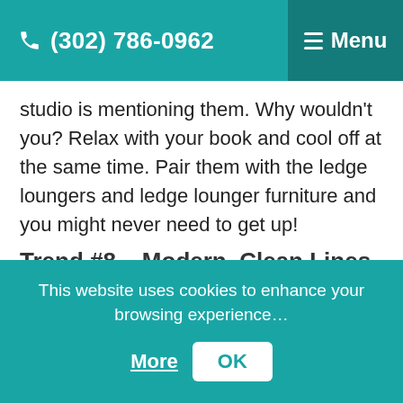(302) 786-0962  Menu
studio is mentioning them. Why wouldn't you? Relax with your book and cool off at the same time. Pair them with the ledge loungers and ledge lounger furniture and you might never need to get up!
Trend #8 – Modern, Clean Lines
This website uses cookies to enhance your browsing experience...
More  OK